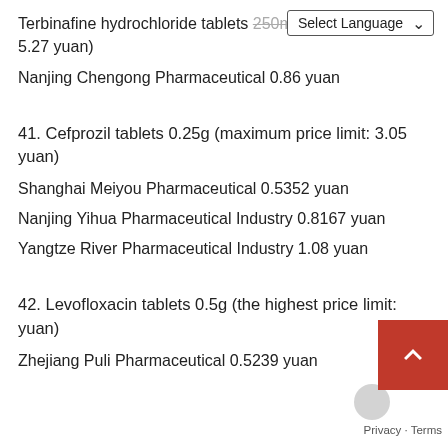Terbinafine hydrochloride tablets 250mg (maximum price: 5.27 yuan)
Nanjing Chengong Pharmaceutical 0.86 yuan
41. Cefprozil tablets 0.25g (maximum price limit: 3.05 yuan)
Shanghai Meiyou Pharmaceutical 0.5352 yuan
Nanjing Yihua Pharmaceutical Industry 0.8167 yuan
Yangtze River Pharmaceutical Industry 1.08 yuan
42. Levofloxacin tablets 0.5g (the highest price limit: yuan)
Zhejiang Puli Pharmaceutical 0.5239 yuan